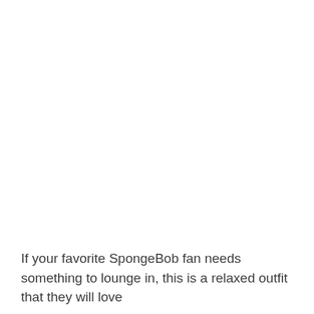If your favorite SpongeBob fan needs something to lounge in, this is a relaxed outfit that they will love